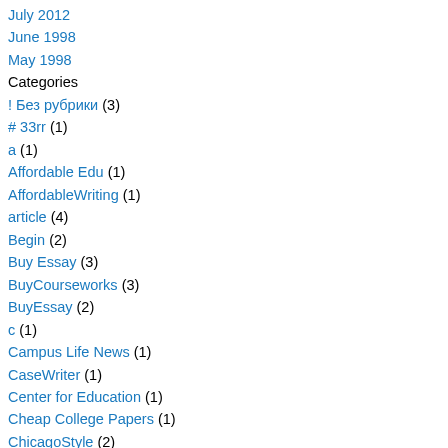July 2012
June 1998
May 1998
Categories
! Без рубрики (3)
# 33rr (1)
a (1)
Affordable Edu (1)
AffordableWriting (1)
article (4)
Begin (2)
Buy Essay (3)
BuyCourseworks (3)
BuyEssay (2)
c (1)
Campus Life News (1)
CaseWriter (1)
Center for Education (1)
Cheap College Papers (1)
ChicagoStyle (2)
College Data (1)
College Essays (1)
College Tips (1)
College Writing Help (1)
data room reviews (1)
Dating for lonley (1)
Dedicated Servers Review (1)
dissertation paper for sale online (1)
EdPro (1)